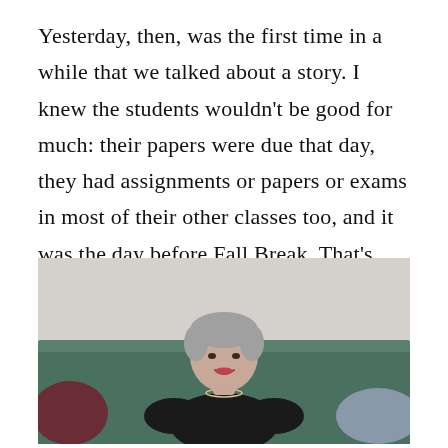Yesterday, then, was the first time in a while that we talked about a story. I knew the students wouldn't be good for much: their papers were due that day, they had assignments or papers or exams in most of their other classes too, and it was the day before Fall Break. That's why I had scheduled a very short story by Edith Pearlman called “Binocular Vision.”
[Figure (photo): A woman with short gray hair wearing a black top sitting on a teal/dark green sofa, smiling at the camera. Colorful pillows visible on either side.]